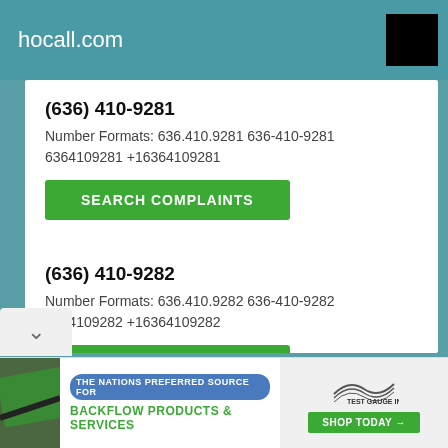hocall.com
(636) 410-9281
Number Formats: 636.410.9281 636-410-9281 6364109281 +16364109281
SEARCH COMPLAINTS
(636) 410-9282
Number Formats: 636.410.9282 636-410-9282 6364109282 +16364109282
SEARCH COMPLAINTS
(636) 410-9283
Number Formats: 636.410.9283 636-410-9283
THE NATIONS PREFERRED SOURCE FOR BACKFLOW PRODUCTS & SERVICES | TEST GAUGE INC. | SHOP TODAY